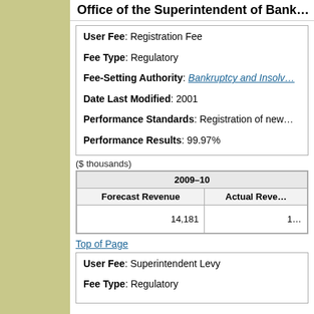Office of the Superintendent of Bank…
User Fee: Registration Fee
Fee Type: Regulatory
Fee-Setting Authority: Bankruptcy and Insolv…
Date Last Modified: 2001
Performance Standards: Registration of new…
Performance Results: 99.97%
($ thousands)
| 2009–10 |  |
| --- | --- |
| Forecast Revenue | Actual Reve… |
| 14,181 | 1… |
Top of Page
User Fee: Superintendent Levy
Fee Type: Regulatory